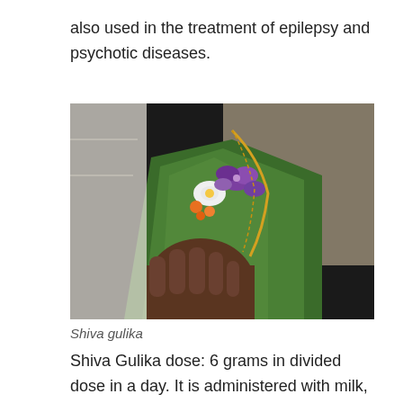also used in the treatment of epilepsy and psychotic diseases.
[Figure (photo): A hand holding a banana leaf cone containing colorful flowers (purple, white, orange) and offerings, with a gold chain necklace visible — traditional Indian ritual/puja offering known as Shiva gulika.]
Shiva gulika
Shiva Gulika dose: 6 grams in divided dose in a day. It is administered with milk, meat soup, pomegranate juice, raisins, appropriate asava and arishta based on the target disease.